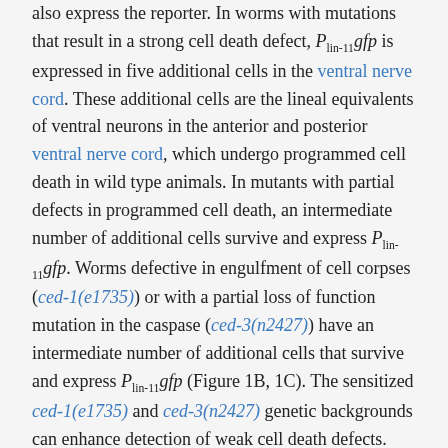also express the reporter. In worms with mutations that result in a strong cell death defect, P_lin-11 gfp is expressed in five additional cells in the ventral nerve cord. These additional cells are the lineal equivalents of ventral neurons in the anterior and posterior ventral nerve cord, which undergo programmed cell death in wild type animals. In mutants with partial defects in programmed cell death, an intermediate number of additional cells survive and express P_lin-11 gfp. Worms defective in engulfment of cell corpses (ced-1(e1735)) or with a partial loss of function mutation in the caspase (ced-3(n2427)) have an intermediate number of additional cells that survive and express P_lin-11 gfp (Figure 1B, 1C). The sensitized ced-1(e1735) and ced-3(n2427) genetic backgrounds can enhance detection of weak cell death defects.
The strongest cell survival phenotype observed, both in the ced-3(n2427) background and in a secondary screen using ced-1(e1735), requiring defects of ced-1(RNAi) constructs...